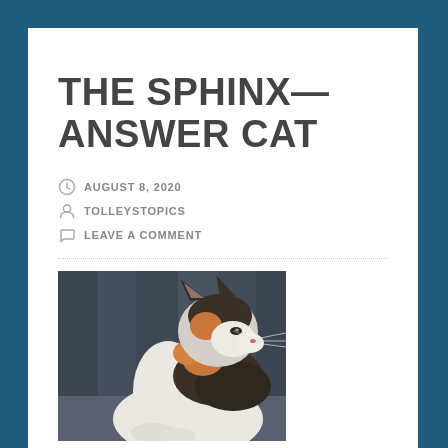THE SPHINX—ANSWER CAT
AUGUST 8, 2020
TOLLEYSTOPICS
LEAVE A COMMENT
[Figure (photo): A calico cat photographed in profile against a blurred dark background, showing distinctive orange, black, and white markings, with prominent whiskers and ears visible.]